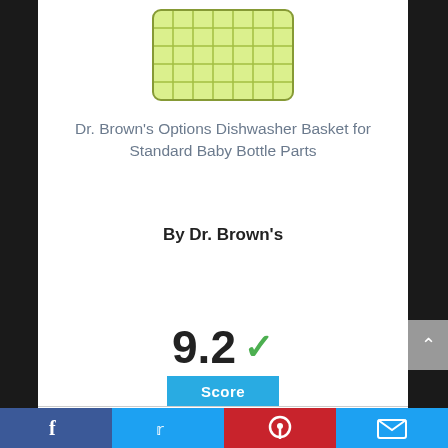[Figure (photo): Green mesh dishwasher basket product image (Dr. Brown's Options Dishwasher Basket), partially visible at top of page]
Dr. Brown's Options Dishwasher Basket for Standard Baby Bottle Parts
By Dr. Brown's
View Product
9.2 ✓
Score